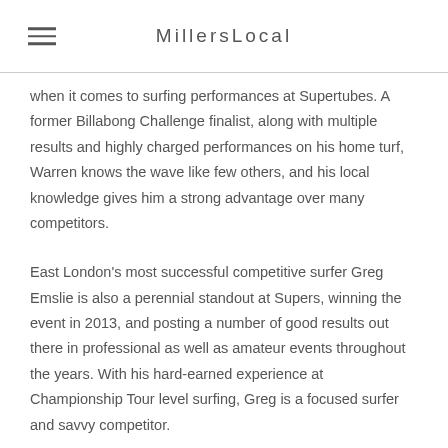MillersLocal
when it comes to surfing performances at Supertubes. A former Billabong Challenge finalist, along with multiple results and highly charged performances on his home turf, Warren knows the wave like few others, and his local knowledge gives him a strong advantage over many competitors.
East London's most successful competitive surfer Greg Emslie is also a perennial standout at Supers, winning the event in 2013, and posting a number of good results out there in professional as well as amateur events throughout the years. With his hard-earned experience at Championship Tour level surfing, Greg is a focused surfer and savvy competitor.
“The JBU Supertrial is a very special event, and I always look forward to it,” said Emslie. “I haven’t had a good run the last two years and I’m really hoping that this year is my